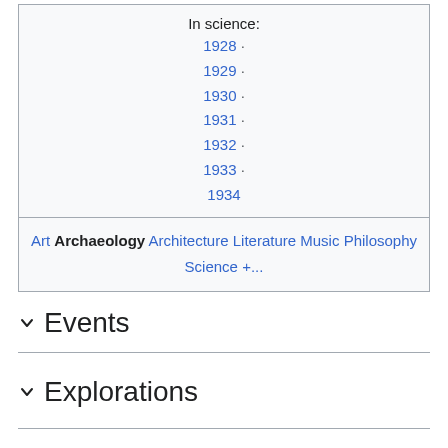In science:
1928 ·
1929 ·
1930 ·
1931 ·
1932 ·
1933 ·
1934
Art Archaeology Architecture Literature Music Philosophy Science +...
Events
Explorations